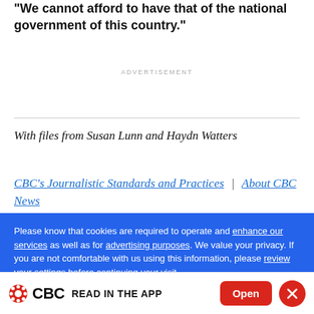we cannot afford to have that of the national government of this country."
ADVERTISEMENT
With files from Susan Lunn and Haydn Watters
CBC's Journalistic Standards and Practices | About CBC News
Please know that cookies are required to operate and enhance our services as well as for advertising purposes. We value your privacy. If you are not comfortable with us using this information, please review your settings before continuing your visit.
CBC READ IN THE APP Open